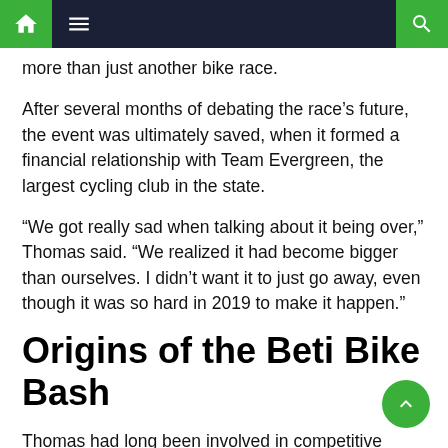Navigation bar with home, menu, and search icons
more than just another bike race.
After several months of debating the race's future, the event was ultimately saved, when it formed a financial relationship with Team Evergreen, the largest cycling club in the state.
“We got really sad when talking about it being over,” Thomas said. “We realized it had become bigger than ourselves. I didn’t want it to just go away, even though it was so hard in 2019 to make it happen.”
Origins of the Beti Bike Bash
Thomas had long been involved in competitive sports, first as a triathlete in the early to mid-90s, and then as a cross-country mountain biker. Although she devoured the sport,